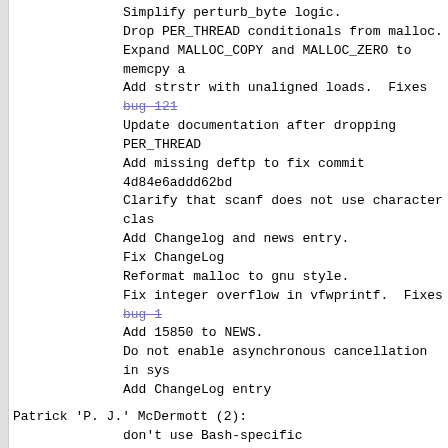Simplify perturb_byte logic.
Drop PER_THREAD conditionals from malloc.
Expand MALLOC_COPY and MALLOC_ZERO to memcpy a
Add strstr with unaligned loads. Fixes bug 121
Update documentation after dropping PER_THREAD
Add missing deftp to fix commit 4d84e6addd62bd
Clarify that scanf does not use character clas
Add Changelog and news entry.
Fix ChangeLog
Reformat malloc to gnu style.
Fix integer overflow in vfwprintf. Fixes bug 1
Add 15850 to NEWS.
Do not enable asynchronous cancellation in sys
Add ChangeLog entry
Patrick 'P. J.' McDermott (2):
don't use Bash-specific ${parameter/pattern/st
ldd: make try_trace more robust and portable
Paul Eggert (5):
Clarify documentation on how functions use tim
* manual/time.texi (TZ Variable): POSIX.1 hour
* manual/time.texi (TZ Variable): Modernize No
Document TZ transition times >= 25:00:00.
Support TZ transition times < 00:00:00.
Paul Pluzhnikov (18):
Adjust AT_EXECFN when using explicit loader in
Adjust AT_EXECFN when using explicit loader in
Fix failure in nptl/tst-cleanup when buildi